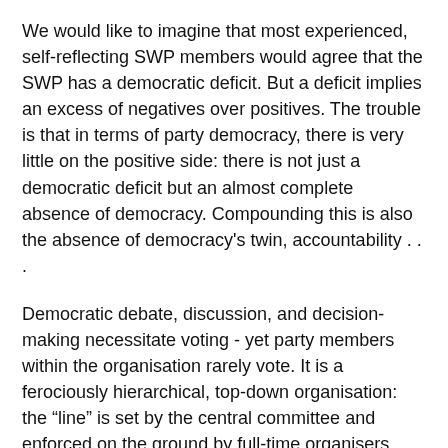We would like to imagine that most experienced, self-reflecting SWP members would agree that the SWP has a democratic deficit. But a deficit implies an excess of negatives over positives. The trouble is that in terms of party democracy, there is very little on the positive side: there is not just a democratic deficit but an almost complete absence of democracy. Compounding this is also the absence of democracy's twin, accountability . . .
Democratic debate, discussion, and decision-making necessitate voting - yet party members within the organisation rarely vote. It is a ferociously hierarchical, top-down organisation: the “line” is set by the central committee and enforced on the ground by full-time organisers . . . For most members, their contact with the party's structures is dominated by the relationship with the organiser. Yet the organiser is not elected by the members but is imposed by the centre . . . Knowing that they are untouchable by grassroots members, organisers tend to be characterised by astonishing insensitivity and arrogance . . . Because they are appointed by, and report to, the central committee, their loyalty is cast iron. Similarly, because the central committee